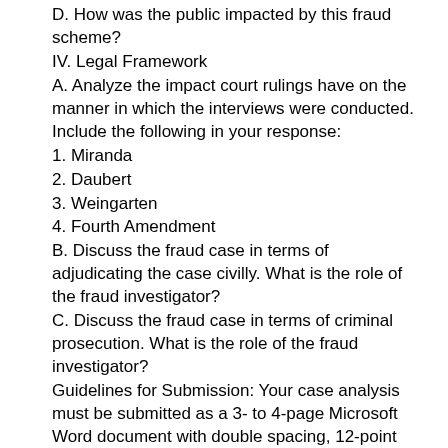D. How was the public impacted by this fraud scheme?
IV. Legal Framework
A. Analyze the impact court rulings have on the manner in which the interviews were conducted. Include the following in your response:
1. Miranda
2. Daubert
3. Weingarten
4. Fourth Amendment
B. Discuss the fraud case in terms of adjudicating the case civilly. What is the role of the fraud investigator?
C. Discuss the fraud case in terms of criminal prosecution. What is the role of the fraud investigator?
Guidelines for Submission: Your case analysis must be submitted as a 3- to 4-page Microsoft Word document with double spacing, 12-point Times New Roman font, one-inch margins, and at least three sources cited in APA format.
Instructor Feedback: This activity uses an integrated rubric in Blackboard. Students can view instructor feedback in the Grade Center. For more information, review these instructions.
Critical Elements Proficient (100%) Needs Improvement (75%)